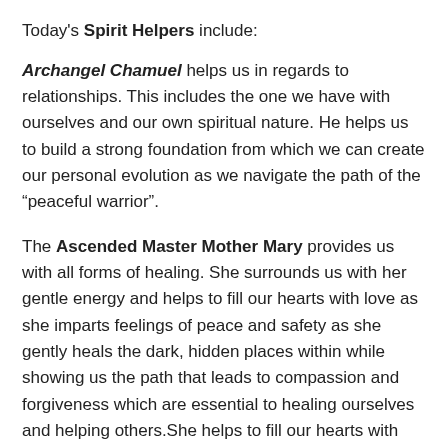Today's Spirit Helpers include:
Archangel Chamuel helps us in regards to relationships. This includes the one we have with ourselves and our own spiritual nature. He helps us to build a strong foundation from which we can create our personal evolution as we navigate the path of the “peaceful warrior”.
The Ascended Master Mother Mary provides us with all forms of healing. She surrounds us with her gentle energy and helps to fill our hearts with love as she imparts feelings of peace and safety as she gently heals the dark, hidden places within while showing us the path that leads to compassion and forgiveness which are essential to healing ourselves and helping others.She helps to fill our hearts with peace and love and helps everyone regardless of path or religion.